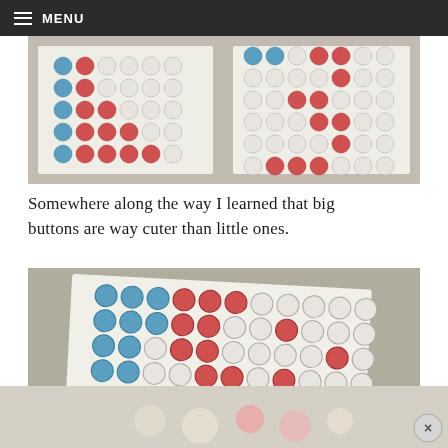MENU
[Figure (photo): Close-up photo of two white cards/boards arranged with red, blue, and white button-like candy dots (M&Ms) arranged in grid patterns on a wooden surface.]
Somewhere along the way I learned that big buttons are way cuter than little ones.
[Figure (photo): Photo of a white card on a gray surface with red, blue, and white button-like candy dots (M&Ms) arranged in a grid pattern resembling a flag.]
[Figure (photo): Partial blurred photo at bottom showing more candy dots on a surface, with a close (X) button overlay.]